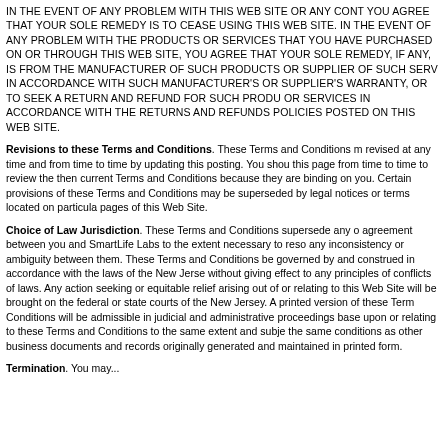IN THE EVENT OF ANY PROBLEM WITH THIS WEB SITE OR ANY CONT YOU AGREE THAT YOUR SOLE REMEDY IS TO CEASE USING THIS WEB SITE. IN THE EVENT OF ANY PROBLEM WITH THE PRODUCTS OR SERVICES THAT YOU HAVE PURCHASED ON OR THROUGH THIS WEB SITE, YOU AGREE THAT YOUR SOLE REMEDY, IF ANY, IS FROM THE MANUFACTURER OF SUCH PRODUCTS OR SUPPLIER OF SUCH SERV IN ACCORDANCE WITH SUCH MANUFACTURER'S OR SUPPLIER'S WARRANTY, OR TO SEEK A RETURN AND REFUND FOR SUCH PRODU OR SERVICES IN ACCORDANCE WITH THE RETURNS AND REFUNDS POLICIES POSTED ON THIS WEB SITE.
Revisions to these Terms and Conditions. These Terms and Conditions may be revised at any time and from time to time by updating this posting. You should visit this page from time to time to review the then current Terms and Conditions because they are binding on you. Certain provisions of these Terms and Conditions may be superseded by legal notices or terms located on particular pages of this Web Site.
Choice of Law Jurisdiction. These Terms and Conditions supersede any other agreement between you and SmartLife Labs to the extent necessary to resolve any inconsistency or ambiguity between them. These Terms and Conditions shall be governed by and construed in accordance with the laws of the New Jersey without giving effect to any principles of conflicts of laws. Any action seeking legal or equitable relief arising out of or relating to this Web Site will be brought only in the federal or state courts of the New Jersey. A printed version of these Terms and Conditions will be admissible in judicial and administrative proceedings based upon or relating to these Terms and Conditions to the same extent and subject to the same conditions as other business documents and records originally generated and maintained in printed form.
Termination. You may...